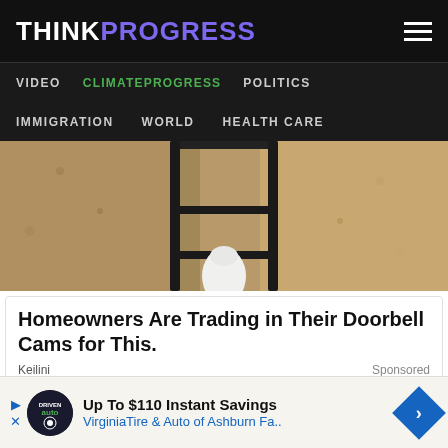THINKPROGRESS
VIDEO  CLIMATEPROGRESS  POLITICS  IMMIGRATION  WORLD  HEALTH CARE
[Figure (photo): Close-up photo of an outdoor wall lantern with a white LED bulb visible, mounted on a stucco wall]
Homeowners Are Trading in Their Doorbell Cams for This.
Keilini
Sponsored
[Figure (photo): Partial photo of a light bulb close-up]
Up To $110 Instant Savings
VirginiaTire & Auto of Ashburn Fa..